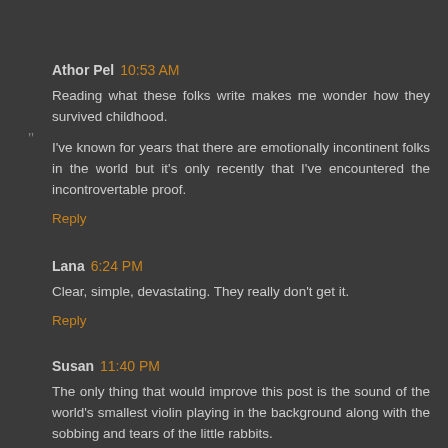Athor Pel 10:53 AM
Reading what these folks write makes me wonder how they survived childhood.

I've known for years that there are emotionally incontinent folks in the world but it's only recently that I've encountered the incontrovertable proof.
Reply
Lana 6:24 PM
Clear, simple, devastating. They really don't get it.
Reply
Susan 11:40 PM
The only thing that would improve this post is the sound of the world's smallest violin playing in the background along with the sobbing and tears of the little rabbits.